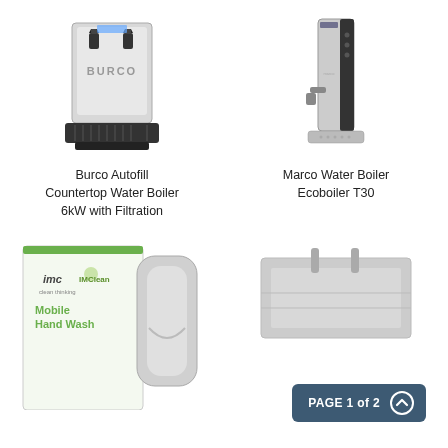[Figure (photo): Burco Autofill Countertop Water Boiler 6kW with Filtration - stainless steel countertop water boiler with two taps and drip tray]
Burco Autofill Countertop Water Boiler 6kW with Filtration
[Figure (photo): Marco Water Boiler Ecoboiler T30 - slim stainless steel water boiler with single tap]
Marco Water Boiler Ecoboiler T30
[Figure (photo): IMC IMClean Mobile Hand Wash unit - branded packaging and mobile sink unit]
[Figure (photo): Commercial kitchen equipment - partially visible at bottom right]
PAGE 1 of 2